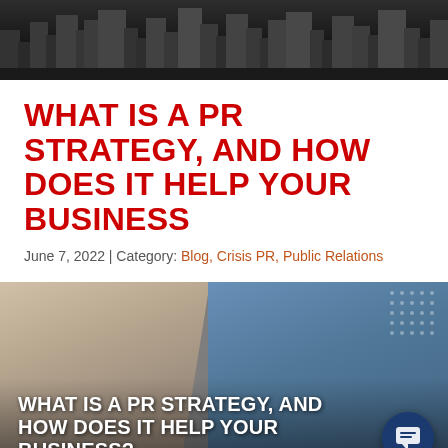[Figure (photo): Dark header banner showing a city skyline silhouette at night]
WHAT IS A PR STRATEGY, AND HOW DOES IT HELP YOUR BUSINESS
June 7, 2022 | Category: Blog, Crisis PR, Public Relations
[Figure (photo): Featured image showing people in a business meeting with overlay text reading 'WHAT IS A PR STRATEGY, AND HOW DOES IT HELP YOUR BUSINESS?' and a chat button in the bottom right corner]